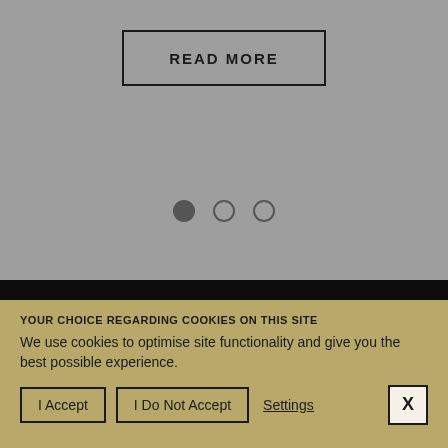[Figure (screenshot): Gray slider/carousel area with a READ MORE button outlined in black]
[Figure (infographic): Carousel dot indicators: one filled dark dot and two empty circle dots]
SMALL FARMER
COMMERCIAL PRODUCER
WELLNESS PROFESSIONAL
YOUR CHOICE REGARDING COOKIES ON THIS SITE
We use cookies to optimise site functionality and give you the best possible experience.
I Accept
I Do Not Accept
Settings
X (close)